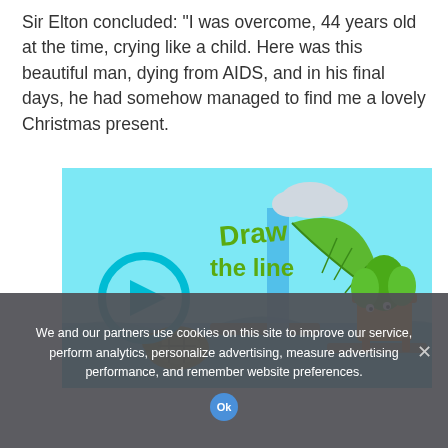Sir Elton concluded: "I was overcome, 44 years old at the time, crying like a child. Here was this beautiful man, dying from AIDS, and in his final days, he had somehow managed to find me a lovely Christmas present.
[Figure (illustration): Colorful game advertisement image with text 'Draw the line', a play button, a green leaf, a cartoon plant in a pot, a turtle, a cloud, and blue water splash on a light blue background.]
We and our partners use cookies on this site to improve our service, perform analytics, personalize advertising, measure advertising performance, and remember website preferences.